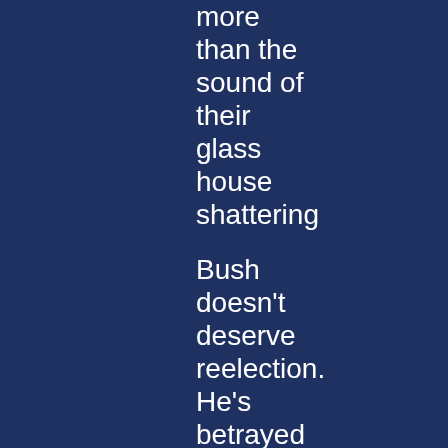more than the sound of their glass house shattering Bush doesn't deserve reelection. He's betrayed this nation by ignoring the lead up to 9/11, by allowing trumped up and